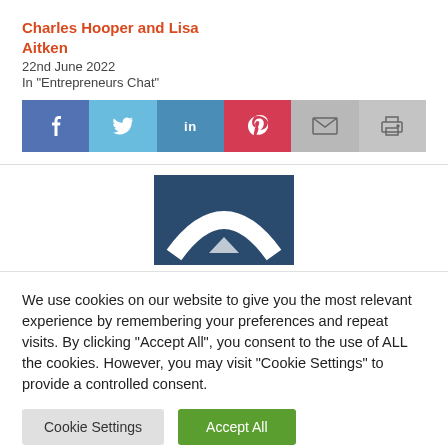Charles Hooper and Lisa Aitken
22nd June 2022
In "Entrepreneurs Chat"
[Figure (infographic): Social media sharing bar with Facebook, Twitter, LinkedIn, Pinterest, Email, and Print buttons]
[Figure (logo): Partial logo with dark blue background and white arch/chevron shape visible]
We use cookies on our website to give you the most relevant experience by remembering your preferences and repeat visits. By clicking “Accept All”, you consent to the use of ALL the cookies. However, you may visit “Cookie Settings” to provide a controlled consent.
Cookie Settings | Accept All